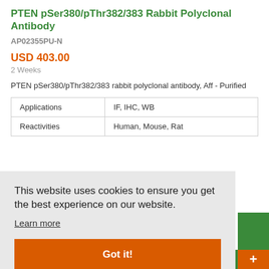PTEN pSer380/pThr382/383 Rabbit Polyclonal Antibody
AP02355PU-N
USD 403.00
2 Weeks
PTEN pSer380/pThr382/383 rabbit polyclonal antibody, Aff - Purified
| Applications | IF, IHC, WB |
| Reactivities | Human, Mouse, Rat |
This website uses cookies to ensure you get the best experience on our website.
Learn more
Got it!
Live Chat Online